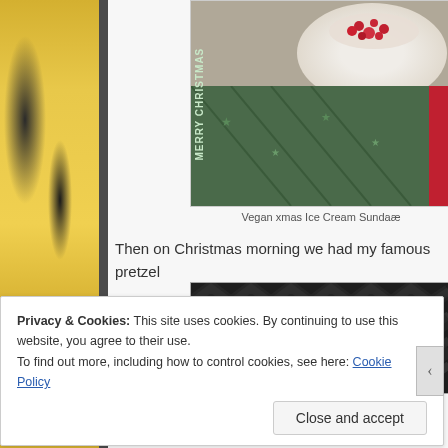[Figure (photo): Left side strip showing yellow bananas with dark spots]
[Figure (photo): Top right food photo showing a vegan Christmas ice cream sundae on a Christmas-themed cloth]
Vegan xmas Ice Cream Sundaæ
Then on Christmas morning we had my famous pretzel
[Figure (photo): Bottom right photo showing dark chevron/zigzag pattern on a waffle iron or dark surface]
Privacy & Cookies: This site uses cookies. By continuing to use this website, you agree to their use.
To find out more, including how to control cookies, see here: Cookie Policy
Close and accept